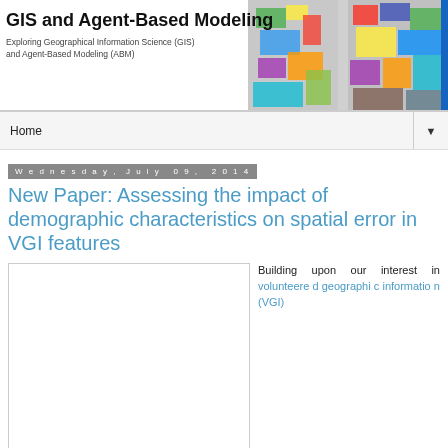GIS and Agent-Based Modeling
Exploring Geographical Information Science (GIS) and Agent-Based Modeling (ABM)
Home
Wednesday, July 09, 2014
New Paper: Assessing the impact of demographic characteristics on spatial error in VGI features
[Figure (other): Blank white placeholder image for article illustration]
Building upon our interest in volunteered geographic information (VGI)